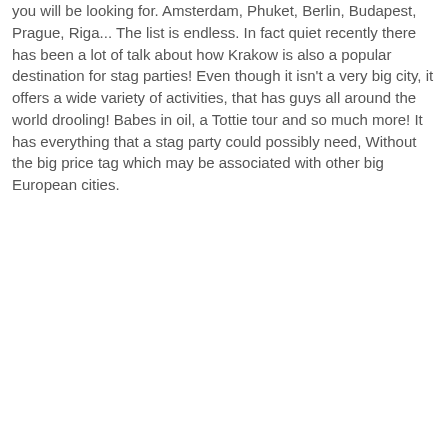you will be looking for. Amsterdam, Phuket, Berlin, Budapest, Prague, Riga... The list is endless. In fact quiet recently there has been a lot of talk about how Krakow is also a popular destination for stag parties! Even though it isn't a very big city, it offers a wide variety of activities, that has guys all around the world drooling! Babes in oil, a Tottie tour and so much more! It has everything that a stag party could possibly need, Without the big price tag which may be associated with other big European cities.